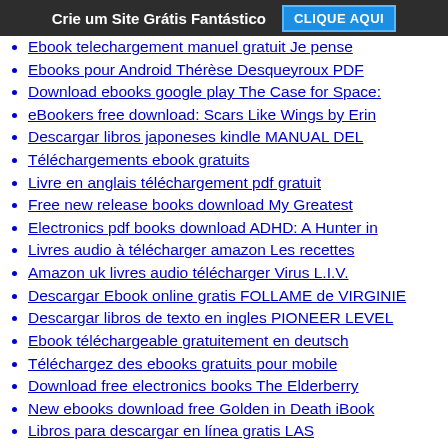Crie um Site Grátis Fantástico  CLIQUE AQUI
Ebook telechargement manuel gratuit Je pense
Ebooks pour Android Thérèse Desqueyroux PDF
Download ebooks google play The Case for Space:
eBookers free download: Scars Like Wings by Erin
Descargar libros japoneses kindle MANUAL DEL
Téléchargements ebook gratuits
Livre en anglais téléchargement pdf gratuit
Free new release books download My Greatest
Electronics pdf books download ADHD: A Hunter in
Livres audio à télécharger amazon Les recettes
Amazon uk livres audio télécharger Virus L.I.V.
Descargar Ebook online gratis FOLLAME de VIRGINIE
Descargar libros de texto en ingles PIONEER LEVEL
Ebook téléchargeable gratuitement en deutsch
Téléchargez des ebooks gratuits pour mobile
Download free electronics books The Elderberry
New ebooks download free Golden in Death iBook
Libros para descargar en línea gratis LAS
Descargar audiolibros en inglés gratis
Free download best books world Finding Ellipses
Online books ebooks downloads free D&D Waterdeep
Free books for download pdf Healing PCOS: A
Ebook for mobiles free download Luna: Wolf Moon:
Pdf book downloader free download Gender and Our